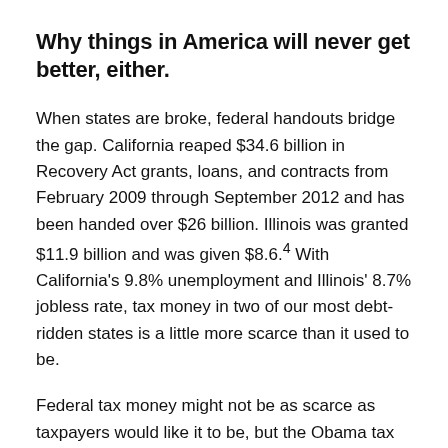Why things in America will never get better, either.
When states are broke, federal handouts bridge the gap. California reaped $34.6 billion in Recovery Act grants, loans, and contracts from February 2009 through September 2012 and has been handed over $26 billion. Illinois was granted $11.9 billion and was given $8.6.4 With California's 9.8% unemployment and Illinois' 8.7% jobless rate, tax money in two of our most debt-ridden states is a little more scarce than it used to be.
Federal tax money might not be as scarce as taxpayers would like it to be, but the Obama tax plan has a fix for that. Anyone who thinks the New Year's charade over keeping income tax rates the